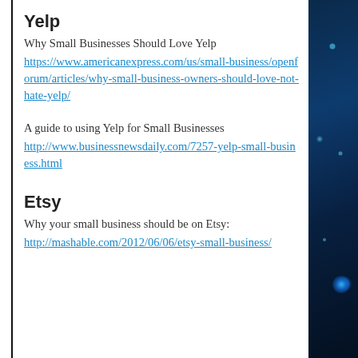Yelp
Why Small Businesses Should Love Yelp
https://www.americanexpress.com/us/small-business/openforum/articles/why-small-business-owners-should-love-not-hate-yelp/
A guide to using Yelp for Small Businesses
http://www.businessnewsdaily.com/7257-yelp-small-business.html
Etsy
Why your small business should be on Etsy:
http://mashable.com/2012/06/06/etsy-small-business/